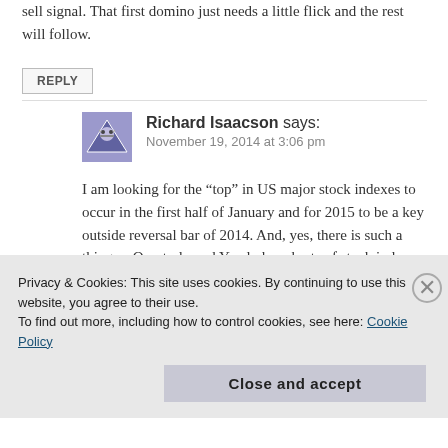sell signal. That first domino just needs a little flick and the rest will follow.
REPLY
Richard Isaacson says:
November 19, 2014 at 3:06 pm
I am looking for the “top” in US major stock indexes to occur in the first half of January and for 2015 to be a key outside reversal bar of 2014. And, yes, there is such a thing as Quarterly and Yearly bar charts of stock indexes. Most Small Specs don’t
Privacy & Cookies: This site uses cookies. By continuing to use this website, you agree to their use.
To find out more, including how to control cookies, see here: Cookie Policy
Close and accept